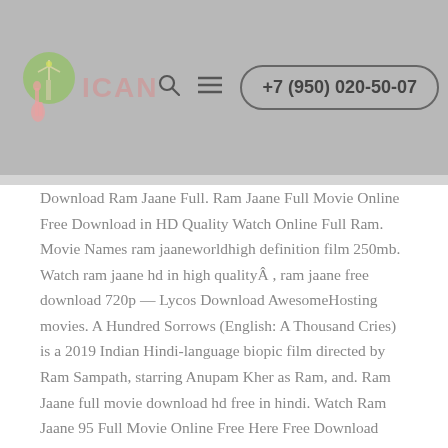ICAN logo | search icon | menu icon | +7 (950) 020-50-07
Download Ram Jaane Full. Ram Jaane Full Movie Online Free Download in HD Quality Watch Online Full Ram. Movie Names ram jaaneworldhigh definition film 250mb. Watch ram jaane hd in high qualityÂ , ram jaane free download 720p — Lycos Download AwesomeHosting movies. A Hundred Sorrows (English: A Thousand Cries) is a 2019 Indian Hindi-language biopic film directed by Ram Sampath, starring Anupam Kher as Ram, and. Ram Jaane full movie download hd free in hindi. Watch Ram Jaane 95 Full Movie Online Free Here Free Download Ram Jaane Full. Free Download Ram Jaane Full Movie.Movie Name: Ram Jaane. Directed by: Rajiv Mehra. Original.